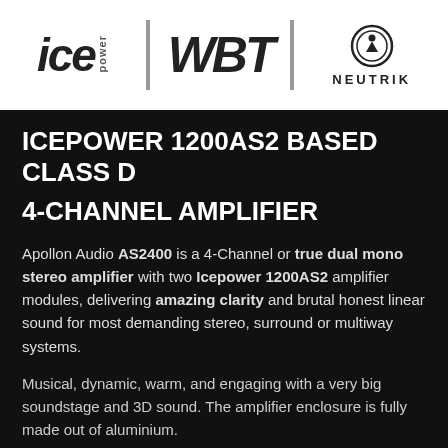[Figure (logo): Banner with three logos: ICEpower (italic bold), WBT (italic bold with vertical grey bars), and Neutrik (circle emblem with text below)]
ICEPOWER 1200AS2 BASED CLASS D
4-CHANNEL AMPLIFIER
Apollon Audio AS2400 is a 4-Channel or true dual mono stereo amplifier with two Icepower 1200AS2 amplifier modules, delivering amazing clarity and brutal honest linear sound for most demanding stereo, surround or multiway systems.
Musical, dynamic, warm, and engaging with a very big soundstage and 3D sound. The amplifier enclosure is fully made out of aluminium.